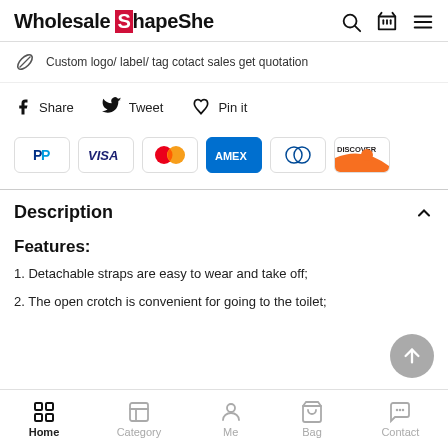Wholesale ShapeShe
Custom logo/ label/ tag cotact sales get quotation
Share  Tweet  Pin it
[Figure (other): Payment method logos: PayPal, VISA, Mastercard, AMEX, Diners Club, Discover]
Description
Features:
1. Detachable straps are easy to wear and take off;
2. The open crotch is convenient for going to the toilet;
Home  Category  Me  Bag  Contact